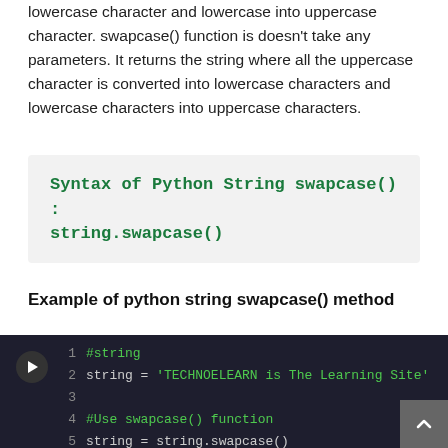lowercase character and lowercase into uppercase character. swapcase() function is doesn't take any parameters. It returns the string where all the uppercase character is converted into lowercase characters and lowercase characters into uppercase characters.
Syntax of Python String swapcase() : string.swapcase()
Example of python string swapcase() method
[Figure (screenshot): Code editor block showing Python code using swapcase() method with line numbers and a play button. Lines: 1 #string, 2 string = 'TECHNOELEARN is The Learning Site', 3 (empty), 4 #Use swapcase() function, 5 string = string.swapcase()]